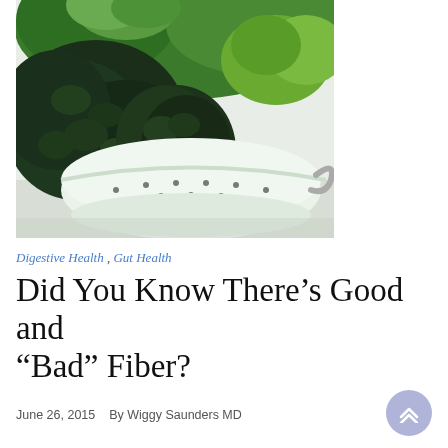[Figure (photo): Green vegetables including kale, broccoli, and herbs in a white colander/strainer, photographed from above on a white background.]
Digestive Health , Gut Health
Did You Know There’s Good and “Bad” Fiber?
June 26, 2015   By Wiggy Saunders MD